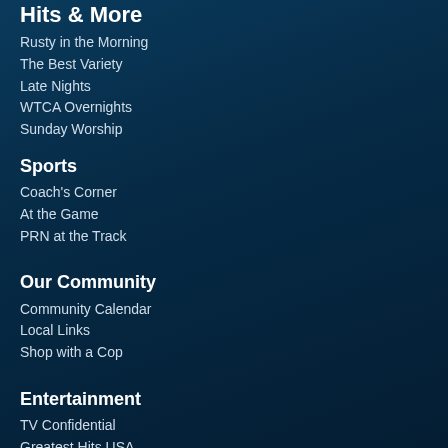Hits & More
Rusty in the Morning
The Best Variety
Late Nights
WTCA Overnights
Sunday Worship
Sports
Coach's Corner
At the Game
PRN at the Track
Our Community
Community Calendar
Local Links
Shop with a Cop
Entertainment
TV Confidential
Greatest Hits USA